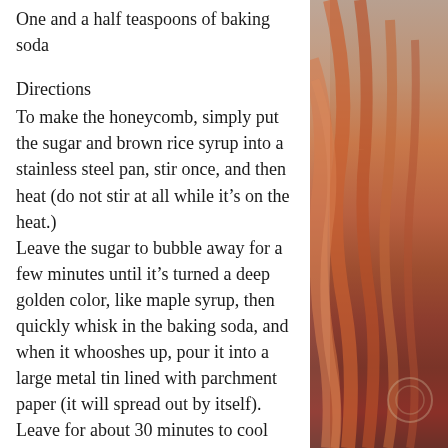One and a half teaspoons of baking soda
Directions
To make the honeycomb, simply put the sugar and brown rice syrup into a stainless steel pan, stir once, and then heat (do not stir at all while it's on the heat.)
Leave the sugar to bubble away for a few minutes until it's turned a deep golden color, like maple syrup, then quickly whisk in the baking soda, and when it whooshes up, pour it into a large metal tin lined with parchment paper (it will spread out by itself).
Leave for about 30 minutes to cool and set, then bash into little pieces with something heavy.
For the Pie
[Figure (photo): Partial view of a person with reddish-orange hair/fabric, warm tones, right side of page]